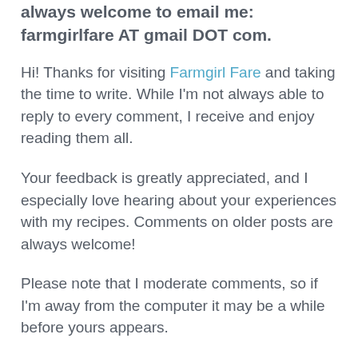always welcome to email me: farmgirlfare AT gmail DOT com.
Hi! Thanks for visiting Farmgirl Fare and taking the time to write. While I'm not always able to reply to every comment, I receive and enjoy reading them all.
Your feedback is greatly appreciated, and I especially love hearing about your experiences with my recipes. Comments on older posts are always welcome!
Please note that I moderate comments, so if I'm away from the computer it may be a while before yours appears.
I try my best to answer all questions, though sometimes it takes me a few days. And sometimes, I'm sorry to say, they fall through the cracks, and for that I sincerely apologize.
I look forward to hearing from you and hope you